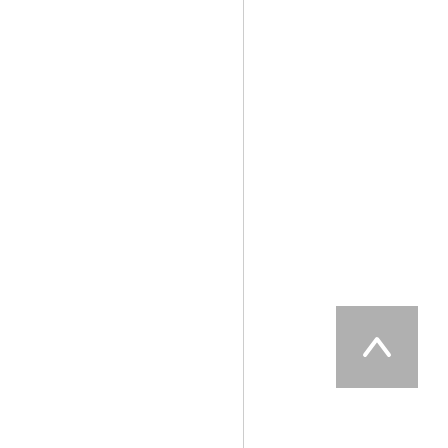vernmentinspectio
[Figure (other): Scroll-to-top button arrow icon in grey square]